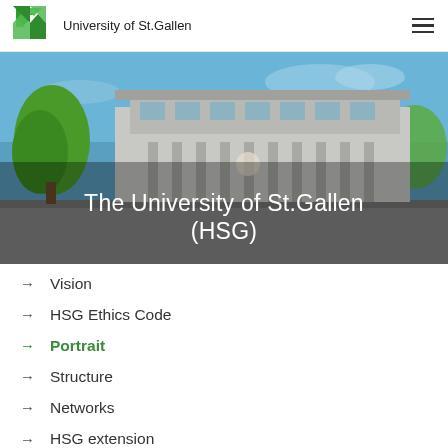University of St.Gallen
[Figure (photo): Exterior photograph of the University of St.Gallen (HSG) main building, a modernist concrete structure with columns, surrounded by trees under a blue sky]
The University of St.Gallen (HSG)
→ Vision
→ HSG Ethics Code
→ Portrait
→ Structure
→ Networks
→ HSG extension